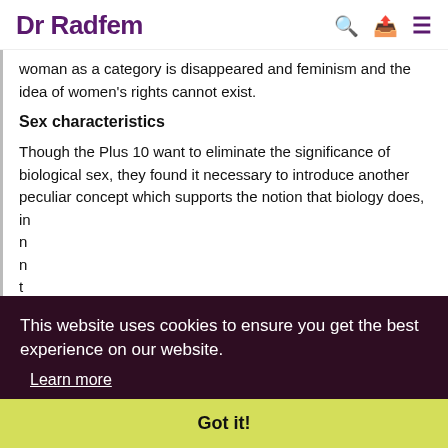Dr Radfem
woman as a category is disappeared and feminism and the idea of women's rights cannot exist.
Sex characteristics
Though the Plus 10 want to eliminate the significance of biological sex, they found it necessary to introduce another peculiar concept which supports the notion that biology does, in... m... n... t... 2... c... 's...
This website uses cookies to ensure you get the best experience on our website.
Learn more
Got it!
expression and sex characteristics'. These are